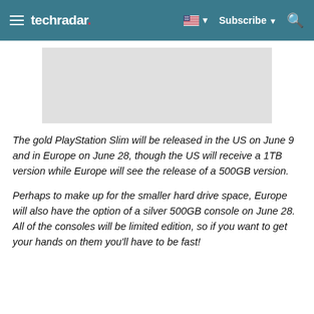techradar | Subscribe
[Figure (photo): Gray placeholder image area for article image]
The gold PlayStation Slim will be released in the US on June 9 and in Europe on June 28, though the US will receive a 1TB version while Europe will see the release of a 500GB version.
Perhaps to make up for the smaller hard drive space, Europe will also have the option of a silver 500GB console on June 28. All of the consoles will be limited edition, so if you want to get your hands on them you'll have to be fast!